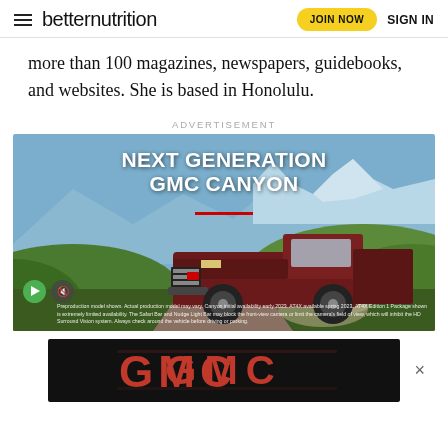betternutrition | JOIN NOW | SIGN IN
more than 100 magazines, newspapers, guidebooks, and websites. She is based in Honolulu.
ADVERTISEMENT
[Figure (photo): GMC Canyon Next Generation truck advertisement. A dark red GMC Canyon AT4X pickup truck drives on a dusty mountain trail with green hills and mountains in the background. Bold white text reads NEXT GENERATION GMC CANYON with a red underline. Video play and mute controls visible at bottom left. Fine print disclaimer text at bottom.]
[Figure (logo): GMC logo in large red metallic lettering on a black background banner advertisement.]